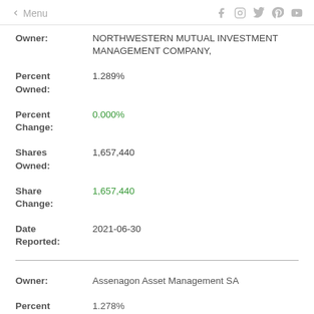← Menu  [social icons: Facebook, Instagram, Twitter, Pinterest, YouTube]
Owner: NORTHWESTERN MUTUAL INVESTMENT MANAGEMENT COMPANY,
Percent Owned: 1.289%
Percent Change: 0.000%
Shares Owned: 1,657,440
Share Change: 1,657,440
Date Reported: 2021-06-30
Owner: Assenagon Asset Management SA
Percent Owned: 1.278%